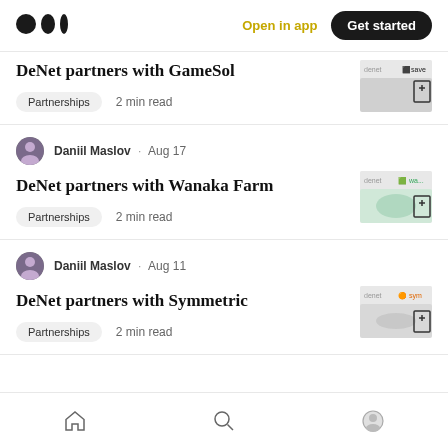Medium app navigation bar with logo, Open in app, Get started
DeNet partners with GameSol
Partnerships · 2 min read
DeNet partners with Wanaka Farm
Daniil Maslov · Aug 17
Partnerships · 2 min read
DeNet partners with Symmetric
Daniil Maslov · Aug 11
Partnerships · 2 min read
Bottom navigation bar: Home, Search, Profile